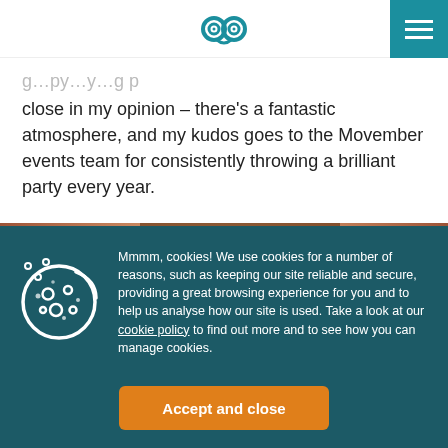[Owl logo / navigation header]
close in my opinion – there's a fantastic atmosphere, and my kudos goes to the Movember events team for consistently throwing a brilliant party every year.
[Figure (photo): Close-up photo of a person's forehead and eyebrows, warm toned, cropped portrait.]
Mmmm, cookies! We use cookies for a number of reasons, such as keeping our site reliable and secure, providing a great browsing experience for you and to help us analyse how our site is used. Take a look at our cookie policy to find out more and to see how you can manage cookies.
Accept and close